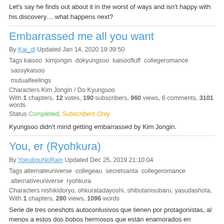Let's say he finds out about it in the worst of ways and isn't happy with his discovery… what happens next?
Embarrassed me all you want
By Kai_di Updated Jan 14, 2020 19:39:50
Tags kaisoo kimjongin dokyungsoo kaisoofluff collegeromance sassykaisoo mutualfeelings
Characters Kim Jongin / Do Kyungsoo
With 1 chapters, 12 votes, 190 subscribers, 960 views, 6 comments, 3101 words
Status Completed, Subscribers Only
Kyungsoo didn't mind getting embarrassed by Kim Jongin.
You, er (Ryohkura)
By YokubouNoRain Updated Dec 25, 2019 21:10:04
Tags alternateuniverse collegeau secretsanta collegeromance alternativeuniverse ryohkura
Characters nishikidoryo, ohkuratadayoshi, shibutanisubaru, yasudashota,
With 1 chapters, 280 views, 1096 words
Serie de tres oneshots autoconlusivos que tienen por protagonistas, al menos a estos dos bobos hermosos que están enamorados en distintos universos. Lo que los conecta, también, es la elección de un tema navideño previamente propuesto por Ryokura Shippers (@Facebook, Tumblr, @Twitter).